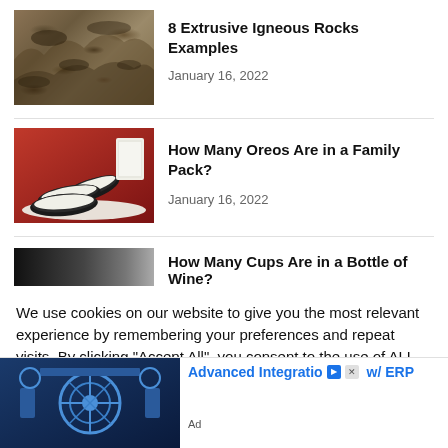[Figure (photo): Photo of extrusive igneous rock with porous, rough brown texture]
8 Extrusive Igneous Rocks Examples
January 16, 2022
[Figure (photo): Photo of Oreo cookies stacked on a red plate with a glass of milk in the background]
How Many Oreos Are in a Family Pack?
January 16, 2022
[Figure (photo): Partial view of a dark image (wine bottle or related)]
How Many Cups Are in a Bottle of Wine?
We use cookies on our website to give you the most relevant experience by remembering your preferences and repeat visits. By clicking "Accept All", you consent to the use of ALL the cookies. However, you may visit "Cookie
[Figure (photo): Advertisement image showing industrial machinery in blue tones]
Advanced Integratio w/ ERP
Ad